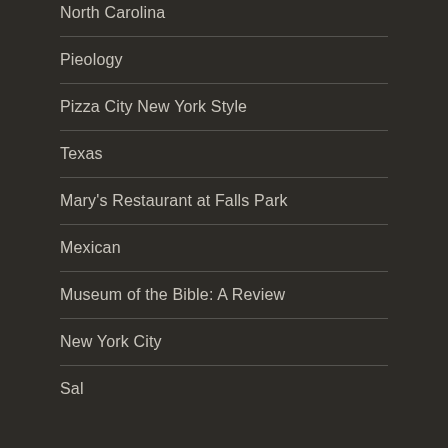North Carolina
Pieology
Pizza City New York Style
Texas
Mary's Restaurant at Falls Park
Mexican
Museum of the Bible: A Review
New York City
Sal…